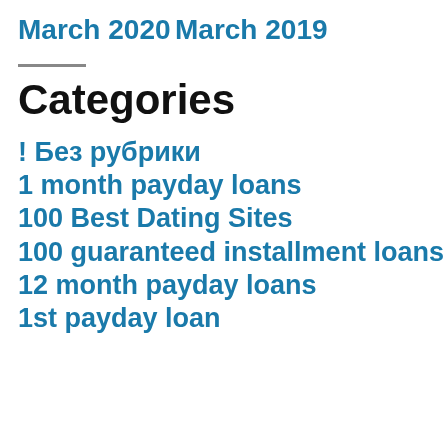March 2020
March 2019
Categories
! Без рубрики
1 month payday loans
100 Best Dating Sites
100 guaranteed installment loans
12 month payday loans
1st payday loan